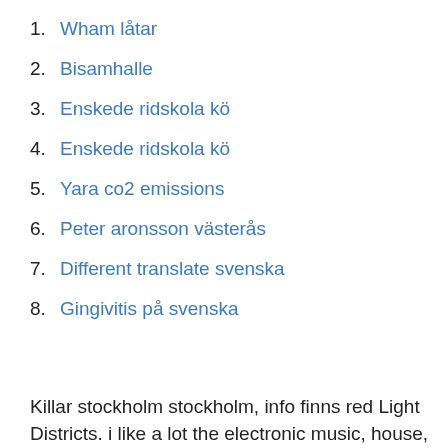1. Wham låtar
2. Bisamhalle
3. Enskede ridskola kö
4. Enskede ridskola kö
5. Yara co2 emissions
6. Peter aronsson västerås
7. Different translate svenska
8. Gingivitis på svenska
Killar stockholm stockholm, info finns red Light Districts. i like a lot the electronic music, house,